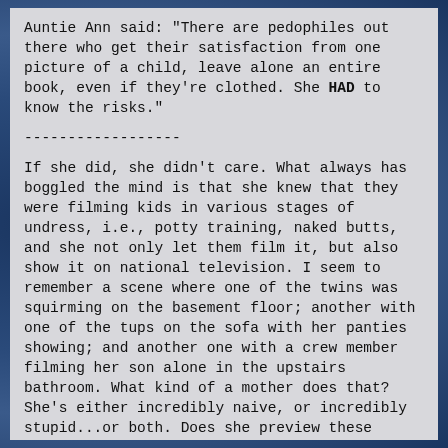Auntie Ann said: "There are pedophiles out there who get their satisfaction from one picture of a child, leave alone an entire book, even if they're clothed. She HAD to know the risks."
------------------
If she did, she didn't care. What always has boggled the mind is that she knew that they were filming kids in various stages of undress, i.e., potty training, naked butts, and she not only let them film it, but also show it on national television. I seem to remember a scene where one of the twins was squirming on the basement floor; another with one of the tups on the sofa with her panties showing; and another one with a crew member filming her son alone in the upstairs bathroom. What kind of a mother does that? She's either incredibly naive, or incredibly stupid...or both. Does she preview these scenes before they're shown, or does she just give TLC Carte Blanche in its filming? Or does TLC mandate that these scenes are shown, in which case a mother should say, "ABSOLUTELY NOT!"